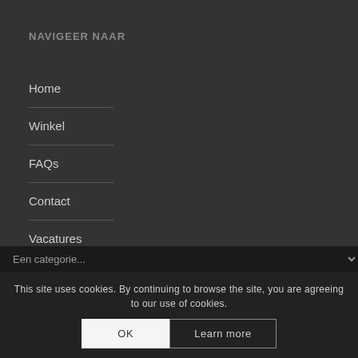NAVIGEER NAAR
Home
Winkel
FAQs
Contact
Vacatures
Rozema Events
This site uses cookies. By continuing to browse the site, you are agreeing to our use of cookies.
OK
Learn more